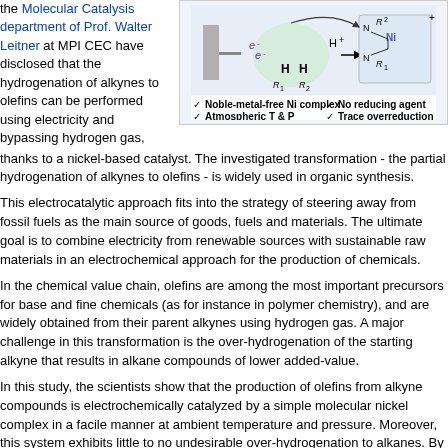the Molecular Catalysis department of Prof. Walter Leitner at MPI CEC have disclosed that the hydrogenation of alkynes to olefins can be performed using electricity and bypassing hydrogen gas, thanks to a nickel-based catalyst. The investigated transformation - the partial hydrogenation of alkynes to olefins - is widely used in organic synthesis.
[Figure (illustration): Reaction scheme showing electrochemical hydrogenation of alkynes to olefins using a nickel complex catalyst, with electrons (e-) and proton (H+) shown, plus a nickel complex structure. Below are four checkmarks: Noble-metal-free Ni complex, Atmospheric T & P, No reducing agent, Trace overreduction.]
This electrocatalytic approach fits into the strategy of steering away from fossil fuels as the main source of goods, fuels and materials. The ultimate goal is to combine electricity from renewable sources with sustainable raw materials in an electrochemical approach for the production of chemicals.
In the chemical value chain, olefins are among the most important precursors for base and fine chemicals (as for instance in polymer chemistry), and are widely obtained from their parent alkynes using hydrogen gas. A major challenge in this transformation is the over-hydrogenation of the starting alkyne that results in alkane compounds of lower added-value.
In this study, the scientists show that the production of olefins from alkyne compounds is electrochemically catalyzed by a simple molecular nickel complex in a facile manner at ambient temperature and pressure. Moreover, this system exhibits little to no undesirable over-hydrogenation to alkanes. By coupling electrochemical analysis and spectroscopy, it was also found that the catalytic cycle is initiated in an atypical way by activation of the alkyne compound, rather than by the formation of a hydride as is usually the case.